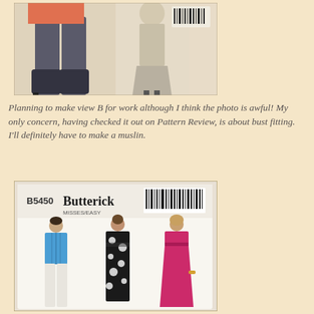[Figure (photo): Photo of a sewing pattern envelope showing fashion illustrations of women in pants/skirt outfits with boots and heels, with a barcode visible]
Planning to make view B for work although I think the photo is awful! My only concern, having checked it out on Pattern Review, is about bust fitting. I'll definitely have to make a muslin.
[Figure (photo): Photo of Butterick B5450 sewing pattern envelope showing three women wearing sleeveless tops and dresses in blue, black/white print, and pink/magenta fabrics]